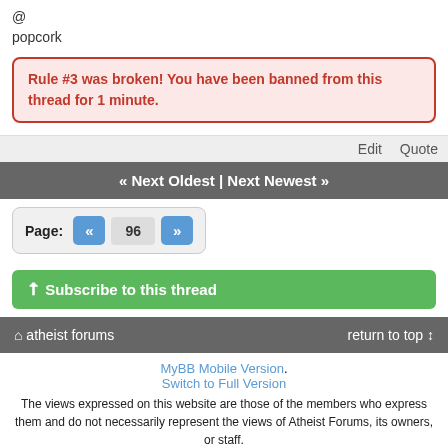@
popcork
Rule #3 was broken! You have been banned from this thread for 1 minute.
Edit   Quote
« Next Oldest | Next Newest »
Page: « 96 »
Subscribe to this thread
atheist forums   return to top
MyBB Mobile Version.
Switch to Full Version
The views expressed on this website are those of the members who express them and do not necessarily represent the views of Atheist Forums, its owners, or staff.